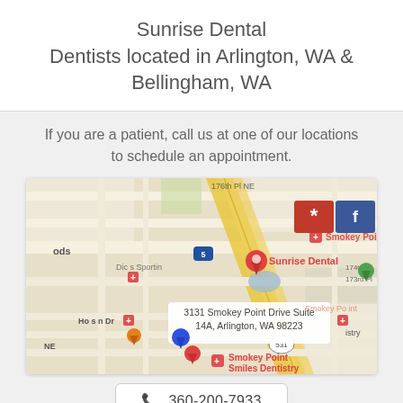Sunrise Dental
Dentists located in Arlington, WA &
Bellingham, WA
If you are a patient, call us at one of our locations to schedule an appointment.
[Figure (map): Google Maps screenshot showing the area around 3131 Smokey Point Drive Suite 14A, Arlington, WA 98223. Map shows Interstate 5, Sunrise Dental marker, Smokey Point Dent marker, Smokey Point Smiles Dentistry marker, and other local businesses. Yelp and Facebook icons visible in top right corner.]
360-200-7933